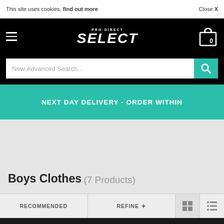This site uses cookies, find out more | Close X
[Figure (logo): PRO:DIRECT SELECT logo with hamburger menu and shopping cart icon showing 0 items]
[Figure (screenshot): Search bar with placeholder text 'New Advanced Search...' and teal search button]
NEXT DAY DELIVERY - ORDER WITHIN
Boys Clothes (7 Products)
RECOMMENDED | REFINE + | grid view | list view
PRO:DIRECT LIVE CHAT